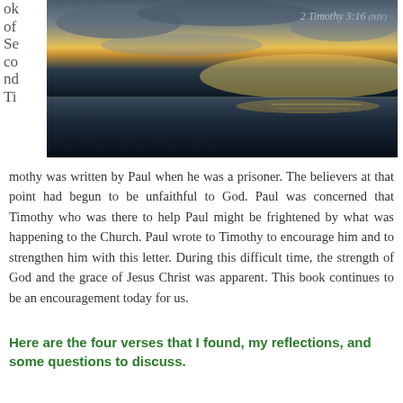[Figure (photo): Sunset or sunrise over ocean with dramatic clouds and orange/golden horizon light. Text overlay reads '2 Timothy 3:16 (NIV)']
ok of Second Timothy was written by Paul when he was a prisoner. The believers at that point had begun to be unfaithful to God. Paul was concerned that Timothy who was there to help Paul might be frightened by what was happening to the Church. Paul wrote to Timothy to encourage him and to strengthen him with this letter. During this difficult time, the strength of God and the grace of Jesus Christ was apparent. This book continues to be an encouragement today for us.
Here are the four verses that I found, my reflections, and some questions to discuss.